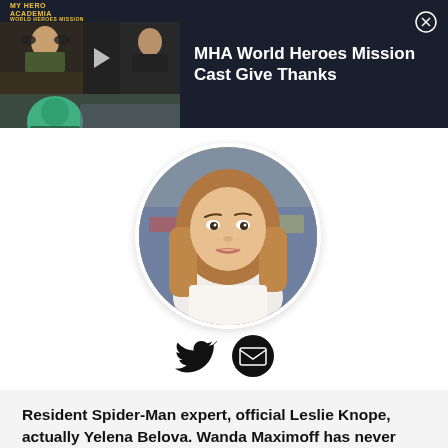[Figure (screenshot): Ad banner for MHA World Heroes Mission video. Dark background with video thumbnail on left showing two people and a cosplayer, and text on right.]
MHA World Heroes Mission Cast Give Thanks
[Figure (photo): Circular profile photo of a young woman with long brown hair, selfie style, with graffiti in background.]
[Figure (other): Social media icons: Twitter bird icon and email envelope icon, both in black.]
Resident Spider-Man expert, official Leslie Knope, actually Yelena Belova. Wanda Maximoff has never done anything wrong in her life. New York writer with a passion for all